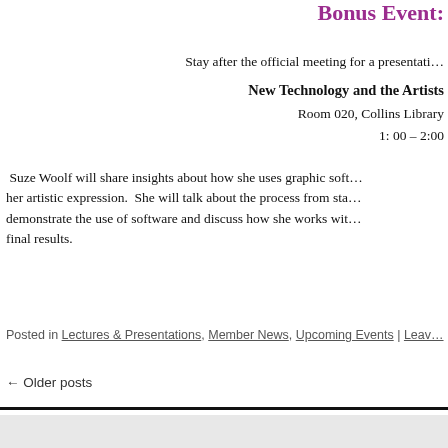Bonus Event:
Stay after the official meeting for a presentation on
New Technology and the Artists
Room 020, Collins Library
1: 00 – 2:00
Suze Woolf will share insights about how she uses graphic software for her artistic expression.  She will talk about the process from start, demonstrate the use of software and discuss how she works with final results.
Posted in Lectures & Presentations, Member News, Upcoming Events | Leav…
← Older posts